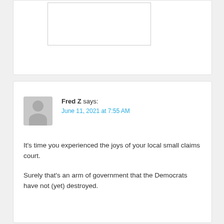[Figure (screenshot): Partial top comment box with an embedded image/screenshot placeholder, cropped at top of page]
Fred Z says:
June 11, 2021 at 7:55 AM

It’s time you experienced the joys of your local small claims court.

Surely that’s an arm of government that the Democrats have not (yet) destroyed.